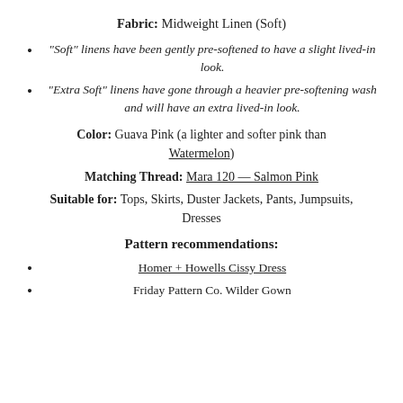Fabric: Midweight Linen (Soft)
"Soft" linens have been gently pre-softened to have a slight lived-in look.
"Extra Soft" linens have gone through a heavier pre-softening wash and will have an extra lived-in look.
Color: Guava Pink (a lighter and softer pink than Watermelon)
Matching Thread: Mara 120 — Salmon Pink
Suitable for: Tops, Skirts, Duster Jackets, Pants, Jumpsuits, Dresses
Pattern recommendations:
Homer + Howells Cissy Dress
Friday Pattern Co. Wilder Gown